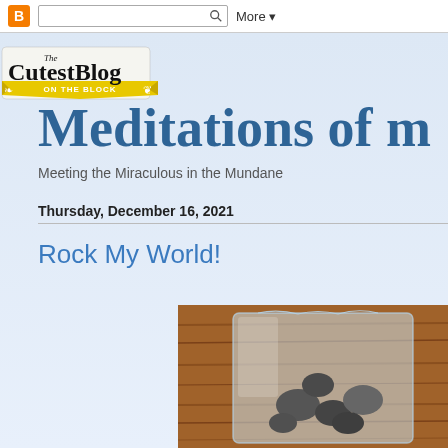Blogger navbar with search and More button
[Figure (logo): The CutestBlog ON THE BLOCK logo - decorative blog header logo with serif font and yellow banner]
Meditations of m
Meeting the Miraculous in the Mundane
Thursday, December 16, 2021
Rock My World!
[Figure (photo): A plastic bag containing rocks on a wooden surface]